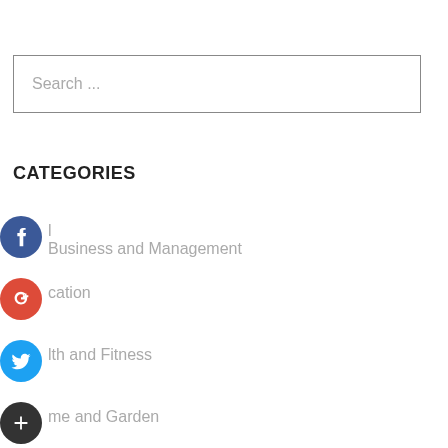Search ...
CATEGORIES
Business and Management
Education
Health and Fitness
Home and Garden
Legal
Marketing and Advertising
Pets
soccer